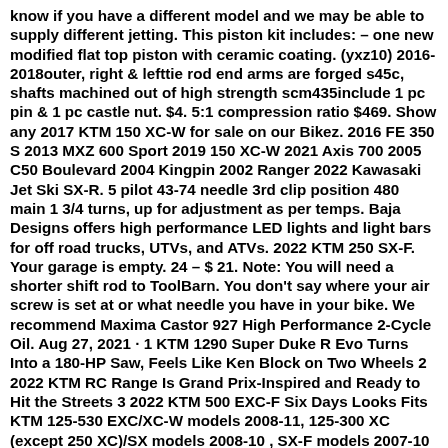know if you have a different model and we may be able to supply different jetting. This piston kit includes: – one new modified flat top piston with ceramic coating. (yxz10) 2016-2018outer, right & lefttie rod end arms are forged s45c, shafts machined out of high strength scm435include 1 pc pin & 1 pc castle nut. $4. 5:1 compression ratio $469. Show any 2017 KTM 150 XC-W for sale on our Bikez. 2016 FE 350 S 2013 MXZ 600 Sport 2019 150 XC-W 2021 Axis 700 2005 C50 Boulevard 2004 Kingpin 2002 Ranger 2022 Kawasaki Jet Ski SX-R. 5 pilot 43-74 needle 3rd clip position 480 main 1 3/4 turns, up for adjustment as per temps. Baja Designs offers high performance LED lights and light bars for off road trucks, UTVs, and ATVs. 2022 KTM 250 SX-F. Your garage is empty. 24 – $ 21. Note: You will need a shorter shift rod to ToolBarn. You don't say where your air screw is set at or what needle you have in your bike. We recommend Maxima Castor 927 High Performance 2-Cycle Oil. Aug 27, 2021 · 1 KTM 1290 Super Duke R Evo Turns Into a 180-HP Saw, Feels Like Ken Block on Two Wheels 2 2022 KTM RC Range Is Grand Prix-Inspired and Ready to Hit the Streets 3 2022 KTM 500 EXC-F Six Days Looks Fits KTM 125-530 EXC/XC-W models 2008-11, 125-300 XC (except 250 XC)/SX models 2008-10 , SX-F models 2007-10 (Models with one piece rear fender/side number assembly) Manufacturer C-D. This tool requires a digital caliper with depth gauge, which is not included. 00 Select options Cylinder Head Insert – 2016-2022 KTM 150 SX/XC-W and Husky